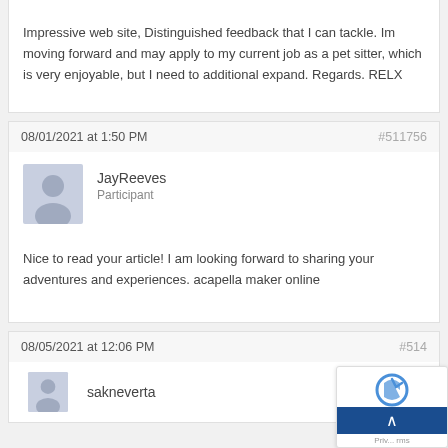Impressive web site, Distinguished feedback that I can tackle. Im moving forward and may apply to my current job as a pet sitter, which is very enjoyable, but I need to additional expand. Regards. RELX
08/01/2021 at 1:50 PM   #511756
JayReeves
Participant
Nice to read your article! I am looking forward to sharing your adventures and experiences. acapella maker online
08/05/2021 at 12:06 PM   #514...
sakneverta